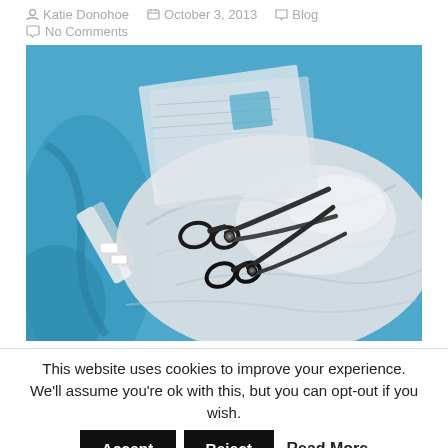Katie Donohoe   October 3, 2013   Blog   No Comments
[Figure (photo): Scissors resting on crumpled white satin/silk fabric with blue fabric in the background, sewing pattern papers visible]
This website uses cookies to improve your experience. We'll assume you're ok with this, but you can opt-out if you wish.
Accept   Reject   Read More